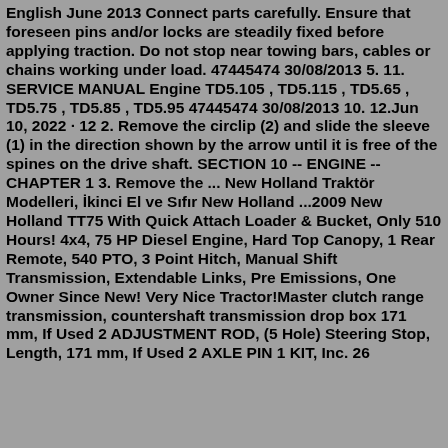English June 2013 Connect parts carefully. Ensure that foreseen pins and/or locks are steadily fixed before applying traction. Do not stop near towing bars, cables or chains working under load. 47445474 30/08/2013 5. 11. SERVICE MANUAL Engine TD5.105 , TD5.115 , TD5.65 , TD5.75 , TD5.85 , TD5.95 47445474 30/08/2013 10. 12.Jun 10, 2022 · 12 2. Remove the circlip (2) and slide the sleeve (1) in the direction shown by the arrow until it is free of the spines on the drive shaft. SECTION 10 -- ENGINE -- CHAPTER 1 3. Remove the ... New Holland Traktör Modelleri, İkinci El ve Sıfır New Holland ...2009 New Holland TT75 With Quick Attach Loader & Bucket, Only 510 Hours! 4x4, 75 HP Diesel Engine, Hard Top Canopy, 1 Rear Remote, 540 PTO, 3 Point Hitch, Manual Shift Transmission, Extendable Links, Pre Emissions, One Owner Since New! Very Nice Tractor!Master clutch range transmission, countershaft transmission drop box 171 mm, If Used 2 ADJUSTMENT ROD, (5 Hole) Steering Stop, Length, 171 mm, If Used 2 AXLE PIN 1 KIT, Inc. 26